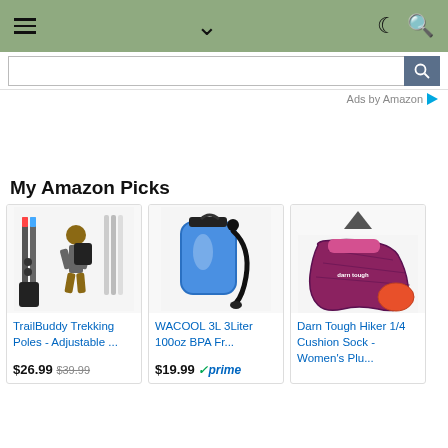Navigation bar with hamburger menu, chevron, moon/search icons
Ads by Amazon
My Amazon Picks
[Figure (photo): TrailBuddy Trekking Poles product image showing hiking poles and a person hiking]
TrailBuddy Trekking Poles - Adjustable ...
$26.99  $39.99
[Figure (photo): WACOOL 3L hydration bladder product image, blue water reservoir]
WACOOL 3L 3Liter 100oz BPA Fr...
$19.99 prime
[Figure (photo): Darn Tough Hiker 1/4 Cushion Sock product image, purple/pink sock]
Darn Tough Hiker 1/4 Cushion Sock - Women's Plu...